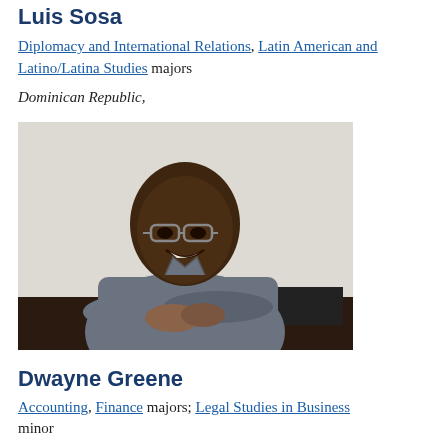Luis Sosa
Diplomacy and International Relations, Latin American and Latino/Latina Studies majors
Dominican Republic,
[Figure (photo): Photo of Dwayne Greene, a young man wearing glasses and a grey shirt, seated with arms crossed and smiling at the camera.]
Dwayne Greene
Accounting, Finance majors; Legal Studies in Business minor
Barbados and Somerset, New Jersey